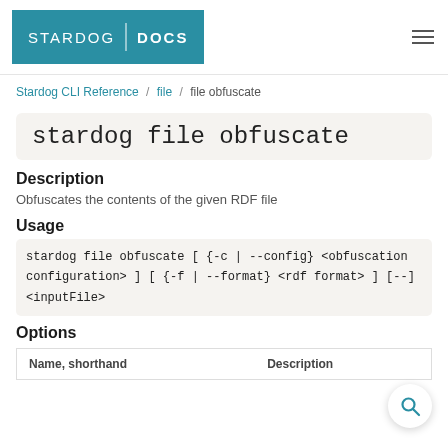STARDOG | DOCS
Stardog CLI Reference / file / file obfuscate
stardog file obfuscate
Description
Obfuscates the contents of the given RDF file
Usage
stardog file obfuscate [ {-c | --config} <obfuscation configuration> ] [ {-f | --format} <rdf format> ] [--] <inputFile>
Options
| Name, shorthand | Description |
| --- | --- |